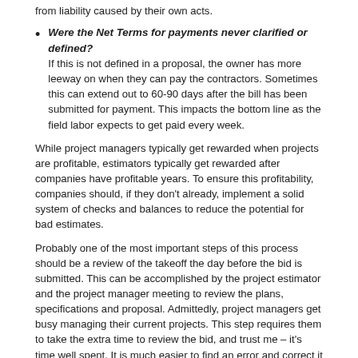from liability caused by their own acts.
Were the Net Terms for payments never clarified or defined? If this is not defined in a proposal, the owner has more leeway on when they can pay the contractors. Sometimes this can extend out to 60-90 days after the bill has been submitted for payment. This impacts the bottom line as the field labor expects to get paid every week.
While project managers typically get rewarded when projects are profitable, estimators typically get rewarded after companies have profitable years. To ensure this profitability, companies should, if they don't already, implement a solid system of checks and balances to reduce the potential for bad estimates.
Probably one of the most important steps of this process should be a review of the takeoff the day before the bid is submitted. This can be accomplished by the project estimator and the project manager meeting to review the plans, specifications and proposal. Admittedly, project managers get busy managing their current projects. This step requires them to take the extra time to review the bid, and trust me – it's time well spent. It is much easier to find an error and correct it now, versus after a bid is submitted. Sometimes then it's too late.